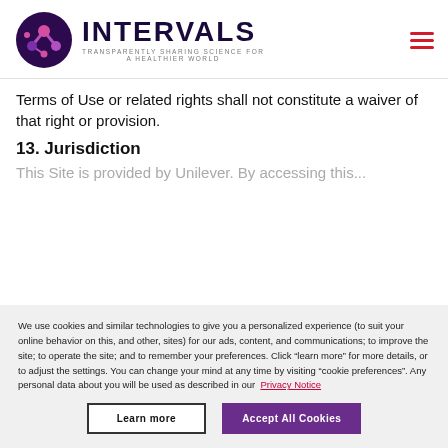INTERVALS — Transparently sharing science for a healthier world
Terms of Use or related rights shall not constitute a waiver of that right or provision.
13. Jurisdiction
We use cookies and similar technologies to give you a personalized experience (to suit your online behavior on this, and other, sites) for our ads, content, and communications; to improve the site; to operate the site; and to remember your preferences. Click “learn more” for more details, or to adjust the settings. You can change your mind at any time by visiting “cookie preferences”. Any personal data about you will be used as described in our Privacy Notice